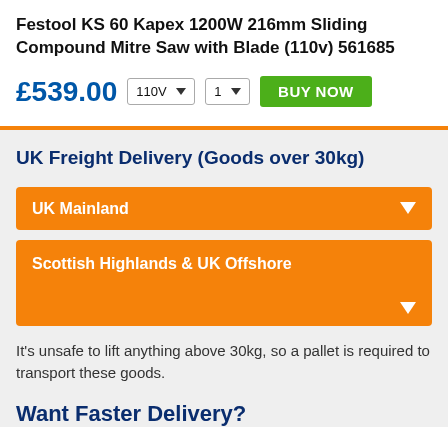Festool KS 60 Kapex 1200W 216mm Sliding Compound Mitre Saw with Blade (110v) 561685
£539.00
UK Freight Delivery (Goods over 30kg)
UK Mainland
Scottish Highlands & UK Offshore
It's unsafe to lift anything above 30kg, so a pallet is required to transport these goods.
Want Faster Delivery?